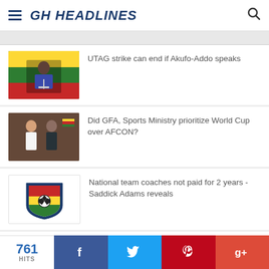GH HEADLINES
UTAG strike can end if Akufo-Addo speaks
Did GFA, Sports Ministry prioritize World Cup over AFCON?
National team coaches not paid for 2 years - Saddick Adams reveals
Former Norwich coach Chris Hughton arrives in Ghana amidst Black Stars link
761 HITS